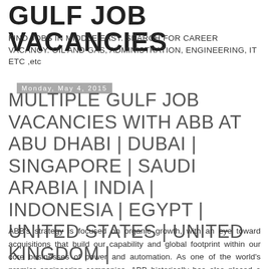GULF JOB VACANCIES
FIND JOBS IN MIDDLE EAST. SEARCH FOR CAREER VACANCY. OIL AND GAS, ADMINISTRATION, ENGINEERING, IT ETC ,etc
Monday, May 4, 2015
MULTIPLE GULF JOB VACANCIES WITH ABB AT ABU DHABI | DUBAI | SINGAPORE | SAUDI ARABIA | INDIA | INDONESIA | EGYPT | UNITED STATES | UNITED KINGDOM |
ABB’s strategy is focused on organic growth, with an eye toward acquisitions that build our capability and global footprint within our core businesses of power and automation. As one of the world’s premier engineering companies, ABB historically has also placed a strong emphasis on research and